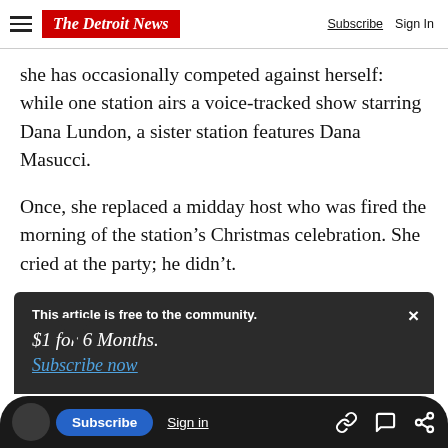The Detroit News — Subscribe | Sign In
she has occasionally competed against herself: while one station airs a voice-tracked show starring Dana Lundon, a sister station features Dana Masucci.
Once, she replaced a midday host who was fired the morning of the station's Christmas celebration. She cried at the party; he didn't.
This article is free to the community.
$1 for 6 Months.
Subscribe now